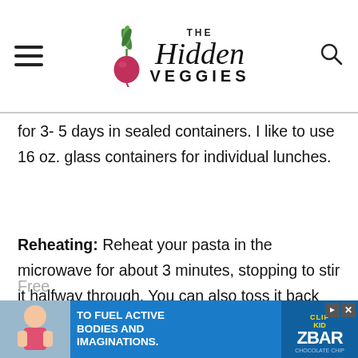THE Hidden VEGGIES
for 3- 5 days in sealed containers. I like to use 16 oz. glass containers for individual lunches.
Reheating: Reheat your pasta in the microwave for about 3 minutes, stopping to stir it halfway through. You can also toss it back into a frying pan with a tablespoon or two of water, cover, and reheat until warm.
[Figure (photo): Advertisement banner: child eating a snack bar, text 'TO FUEL ACTIVE BODIES AND IMAGINATIONS.' with CLIF Kid ZBAR branding]
Free